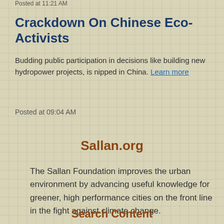Posted at 11:21 AM
Crackdown On Chinese Eco-Activists
Budding public participation in decisions like building new hydropower projects, is nipped in China. Learn more
Posted at 09:04 AM
Sallan.org
The Sallan Foundation improves the urban environment by advancing useful knowledge for greener, high performance cities on the front line in the fight against climate change.
Search Content